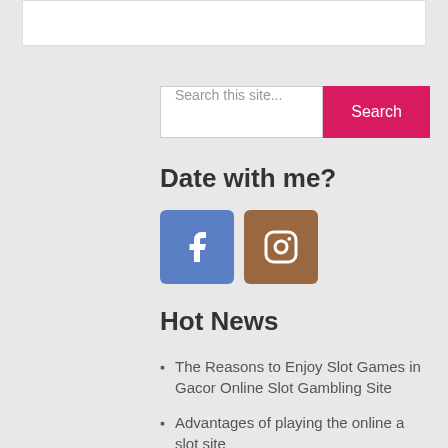[Figure (other): White rectangular box at the top of the page]
Search this site...
Date with me?
[Figure (other): Facebook icon button (blue square with white F)]
[Figure (other): Instagram icon button (brown square with white camera icon)]
Hot News
The Reasons to Enjoy Slot Games in Gacor Online Slot Gambling Site
Advantages of playing the online a slot site
The Shocking Extent of Female Sex toys – Wonderful Thing
Sex Enhancement Pills – More grounded Erection Naturally